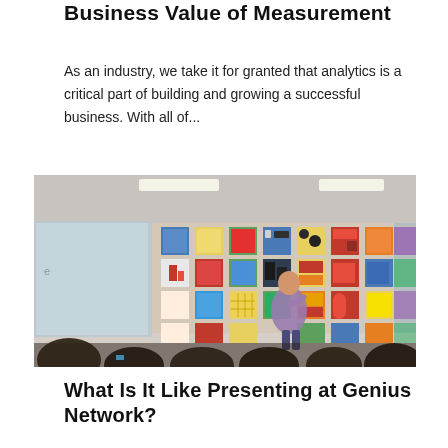Business Value of Measurement
As an industry, we take it for granted that analytics is a critical part of building and growing a successful business. With all of...
[Figure (photo): A speaker presenting to an audience in a room with colorful artwork canvases on the wall behind them, with a projector screen on the left.]
What Is It Like Presenting at Genius Network?